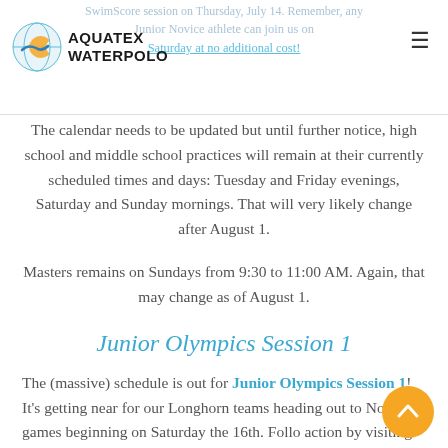Aquatex Waterpolo — SwimScore session on Thursday, July 14. Remember, any Junior Novice athlete can join us on Saturday at no additional cost!
The calendar needs to be updated but until further notice, high school and middle school practices will remain at their currently scheduled times and days: Tuesday and Friday evenings, Saturday and Sunday mornings. That will very likely change after August 1.
Masters remains on Sundays from 9:30 to 11:00 AM. Again, that may change as of August 1.
Junior Olympics Session 1
The (massive) schedule is out for Junior Olympics Session 1! It's getting near for our Longhorn teams heading out to NorCal, games beginning on Saturday the 16th. Follow action by visiting our event page with links to scheduling